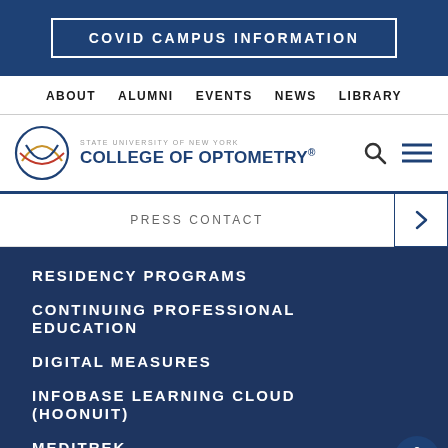COVID CAMPUS INFORMATION
ABOUT
ALUMNI
EVENTS
NEWS
LIBRARY
[Figure (logo): SUNY College of Optometry logo with circular eye graphic and text]
PRESS CONTACT
RESIDENCY PROGRAMS
CONTINUING PROFESSIONAL EDUCATION
DIGITAL MEASURES
INFOBASE LEARNING CLOUD (HOONUIT)
MEDITREK
Apply  Give  Appointment